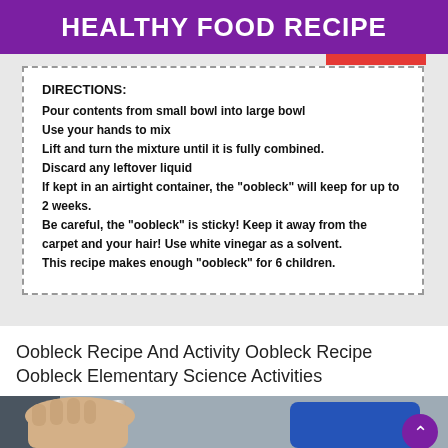HEALTHY FOOD RECIPE
[Figure (screenshot): A recipe card with dashed border showing DIRECTIONS for making oobleck, partially cropped, on a light grey background with a red bar visible at top right.]
Oobleck Recipe And Activity Oobleck Recipe Oobleck Elementary Science Activities
[Figure (photo): A close-up photo of a hand holding a metal bar or spoon, with a blue sleeve visible, against a light background.]